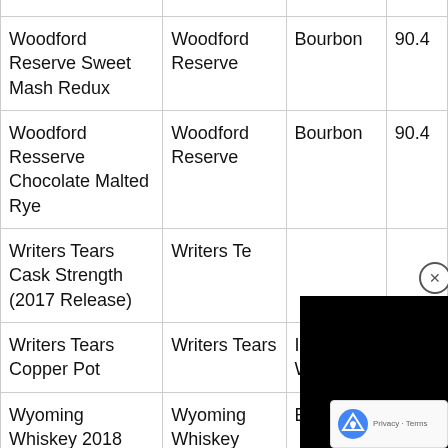| Name | Brand | Category | Proof |
| --- | --- | --- | --- |
| Woodford Reserve Sweet Mash Redux | Woodford Reserve | Bourbon | 90.4 |
| Woodford Resserve Chocolate Malted Rye | Woodford Reserve | Bourbon | 90.4 |
| Writers Tears Cask Strength (2017 Release) | Writers Te… |  |  |
| Writers Tears Copper Pot | Writers Tears | Irish Whiskey | 80 |
| Wyoming Whiskey 2018 | Wyoming Whiskey | Bourbon |  |